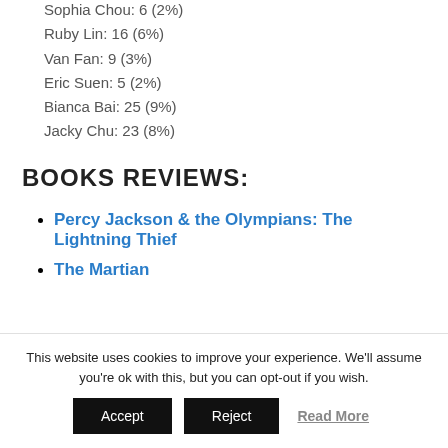Sophia Chou: 6 (2%)
Ruby Lin: 16 (6%)
Van Fan: 9 (3%)
Eric Suen: 5 (2%)
Bianca Bai: 25 (9%)
Jacky Chu: 23 (8%)
BOOKS REVIEWS:
Percy Jackson & the Olympians: The Lightning Thief
The Martian
This website uses cookies to improve your experience. We'll assume you're ok with this, but you can opt-out if you wish.